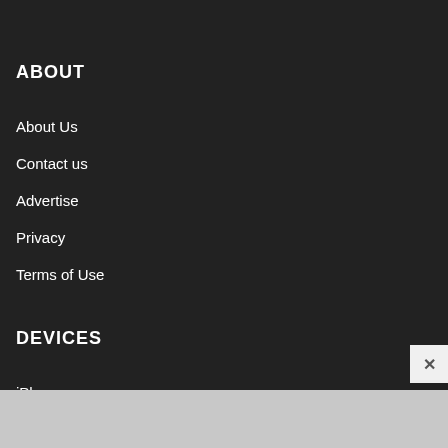ABOUT
About Us
Contact us
Advertise
Privacy
Terms of Use
DEVICES
iPhone
Mac & MacBook
Apple Watch